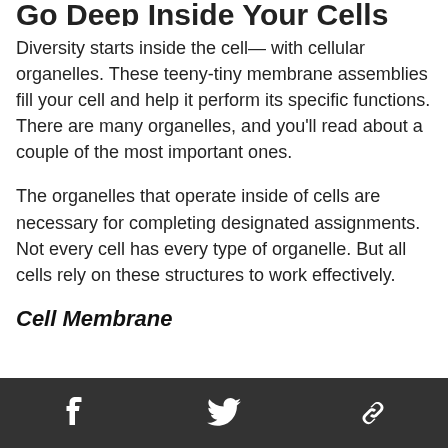Go Deep Inside Your Cells
Diversity starts inside the cell— with cellular organelles. These teeny-tiny membrane assemblies fill your cell and help it perform its specific functions. There are many organelles, and you'll read about a couple of the most important ones.
The organelles that operate inside of cells are necessary for completing designated assignments. Not every cell has every type of organelle. But all cells rely on these structures to work effectively.
Cell Membrane
Social share icons: Facebook, Twitter, Link